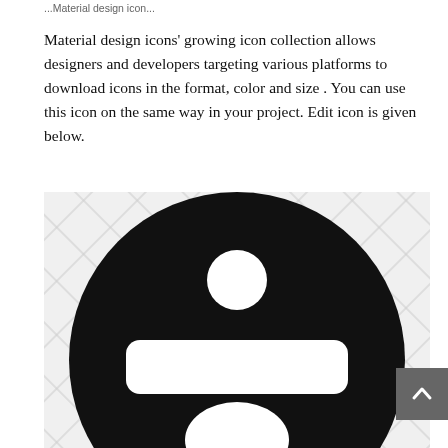...Material design icon...
Material design icons' growing icon collection allows designers and developers targeting various platforms to download icons in the format, color and size . You can use this icon on the same way in your project. Edit icon is given below.
[Figure (illustration): A large black circle icon on a crosshatch/diamond grid background. The circle contains a white circle (dot) near the top center and a white rounded rectangle (bar) in the middle, resembling a division sign or an emoji/account icon. Below the bar, a white semicircle is partially visible at the bottom edge.]
[Figure (other): A grey scroll-to-top button with a white upward chevron arrow in the bottom right corner.]